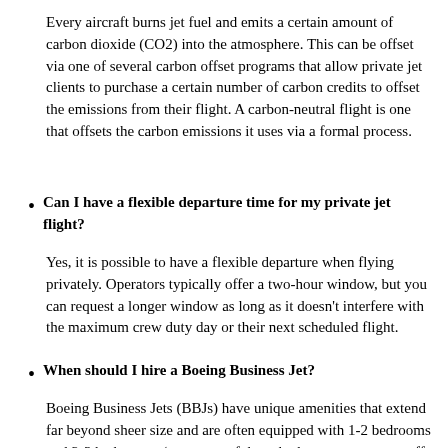Every aircraft burns jet fuel and emits a certain amount of carbon dioxide (CO2) into the atmosphere. This can be offset via one of several carbon offset programs that allow private jet clients to purchase a certain number of carbon credits to offset the emissions from their flight. A carbon-neutral flight is one that offsets the carbon emissions it uses via a formal process.
Can I have a flexible departure time for my private jet flight?
Yes, it is possible to have a flexible departure when flying privately. Operators typically offer a two-hour window, but you can request a longer window as long as it doesn't interfere with the maximum crew duty day or their next scheduled flight.
When should I hire a Boeing Business Jet?
Boeing Business Jets (BBJs) have unique amenities that extend far beyond sheer size and are often equipped with 1-2 bedrooms and 2-3 bathrooms (one more of those bathrooms may even offer stand-up showers.) These airliner-based executive aircraft also feature tall or 'stand-up' cabins that